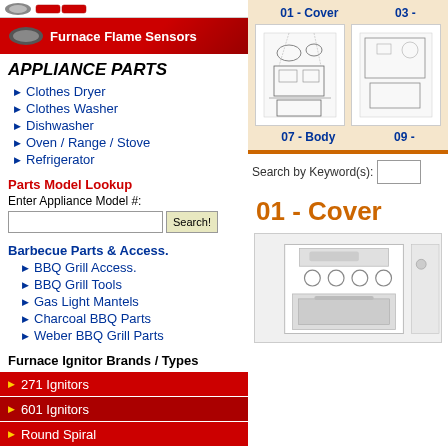[Figure (screenshot): Red banner with 'Furnace Flame Sensors' label and logo image]
APPLIANCE PARTS
Clothes Dryer
Clothes Washer
Dishwasher
Oven / Range / Stove
Refrigerator
Parts Model Lookup
Enter Appliance Model #:
Barbecue Parts & Access.
BBQ Grill Access.
BBQ Grill Tools
Gas Light Mantels
Charcoal BBQ Parts
Weber BBQ Grill Parts
Furnace Ignitor Brands / Types
271 Ignitors
601 Ignitors
Round Spiral
[Figure (screenshot): Parts diagram navigation area showing 01-Cover, 03-, 07-Body, 09- section thumbnails with exploded appliance diagrams]
Search by Keyword(s):
01 - Cover
[Figure (illustration): Partial screenshot of a gas range/stove appliance diagram for Cover section]